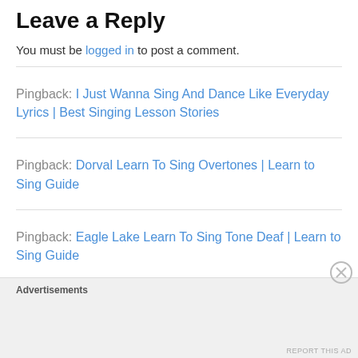Leave a Reply
You must be logged in to post a comment.
Pingback: I Just Wanna Sing And Dance Like Everyday Lyrics | Best Singing Lesson Stories
Pingback: Dorval Learn To Sing Overtones | Learn to Sing Guide
Pingback: Eagle Lake Learn To Sing Tone Deaf | Learn to Sing Guide
Advertisements